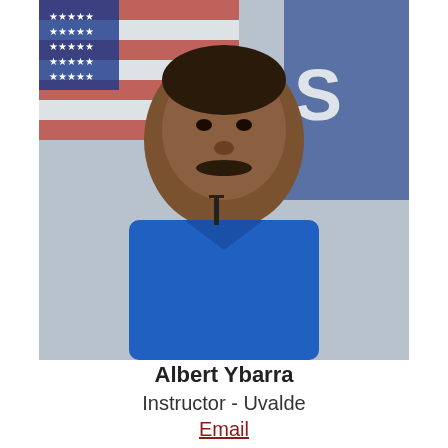[Figure (photo): Headshot of Albert Ybarra in a blue Columbia jacket, with an American flag and a blue/white flag in the background.]
Albert Ybarra
Instructor - Uvalde
Email
(830) 591-7231
[Figure (photo): Partial headshot of Leopoldo Valdez Jr., partially obscured by the cookie consent overlay.]
This website uses cookies to improve your browsing experience. Please review our Privacy and Security Statement for more information.
I Accept
Leopoldo Valdez, Jr.
Instructor - Uvalde